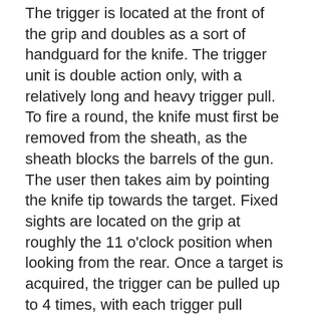The trigger is located at the front of the grip and doubles as a sort of handguard for the knife. The trigger unit is double action only, with a relatively long and heavy trigger pull. To fire a round, the knife must first be removed from the sheath, as the sheath blocks the barrels of the gun. The user then takes aim by pointing the knife tip towards the target. Fixed sights are located on the grip at roughly the 11 o'clock position when looking from the rear. Once a target is acquired, the trigger can be pulled up to 4 times, with each trigger pull discharging one barrel.
The QSB-91 uses the 7.62x17mm pistol cartridge, a domestically-designed round. It was originally designed for use with the integrally-suppressed Type 64. The round based on the 7.65x17SR Browning (.32ACP) cartridge, but with a rimless case. Therefore, unlike the practically noiseless Russian NRS shooting knife, the QSB-91 shooting knife is far from being quiet when it is used to